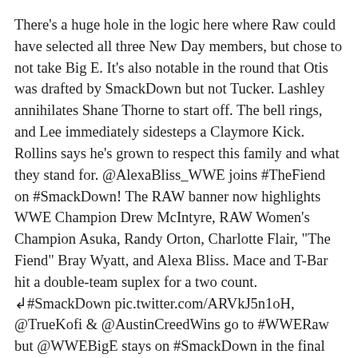There's a huge hole in the logic here where Raw could have selected all three New Day members, but chose to not take Big E. It's also notable in the round that Otis was drafted by SmackDown but not Tucker. Lashley annihilates Shane Thorne to start off. The bell rings, and Lee immediately sidesteps a Claymore Kick. Rollins says he's grown to respect this family and what they stand for. @AlexaBliss_WWE joins #TheFiend on #SmackDown! The RAW banner now highlights WWE Champion Drew McIntyre, RAW Women's Champion Asuka, Randy Orton, Charlotte Flair, "The Fiend" Bray Wyatt, and Alexa Bliss. Mace and T-Bar hit a double-team suplex for a two count. ↲#SmackDown pic.twitter.com/ARVkJ5n1oH, @TrueKofi & @AustinCreedWins go to #WWERaw but @WWEBigE stays on #SmackDown in the final round of Night 1 of the 2020 #WWEDraft. McMahon puts over Dabba-Kato vs. Braun Strowman. They'll drain the lifeblood of this company in the WWE Superstars. They're not so tough. 9:49 pm ET, at Braun Strowman makes his way to the ring. Owens viciously slaps him in the face. Lee pushes him off, but McIntyre slingshots over him. Dijakovic and Dio Maddin hit Lashley with a double chokeslam. Of WWE, Dream AEW Opponent, Becky Lynch Reportedly Backstage On SmackDown This Week, Former WWE Wrestler & Current Impact Star Says "Tony Khan Knows Where To Find Me", Paul Heyman Discusses Whether Ronda